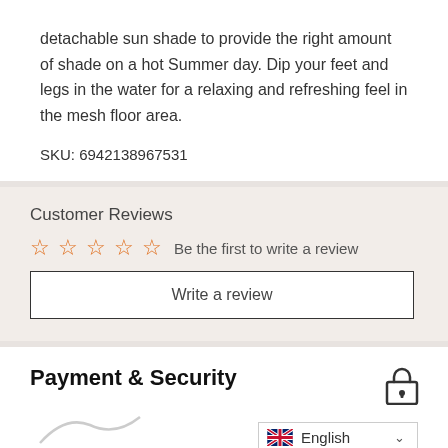detachable sun shade to provide the right amount of shade on a hot Summer day. Dip your feet and legs in the water for a relaxing and refreshing feel in the mesh floor area.
SKU: 6942138967531
Customer Reviews
Be the first to write a review
Write a review
Payment & Security